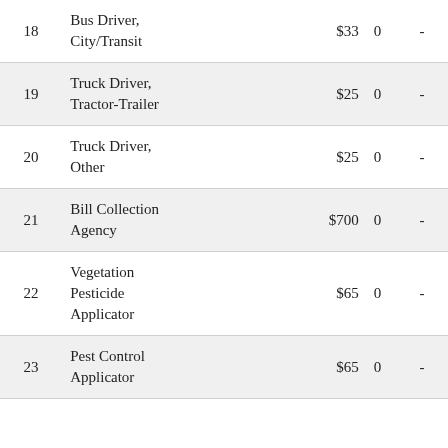| # | Name | Price | 0 | - |
| --- | --- | --- | --- | --- |
| 18 | Bus Driver, City/Transit | $33 | 0 | - |
| 19 | Truck Driver, Tractor-Trailer | $25 | 0 | - |
| 20 | Truck Driver, Other | $25 | 0 | - |
| 21 | Bill Collection Agency | $700 | 0 | - |
| 22 | Vegetation Pesticide Applicator | $65 | 0 | - |
| 23 | Pest Control Applicator | $65 | 0 | - |